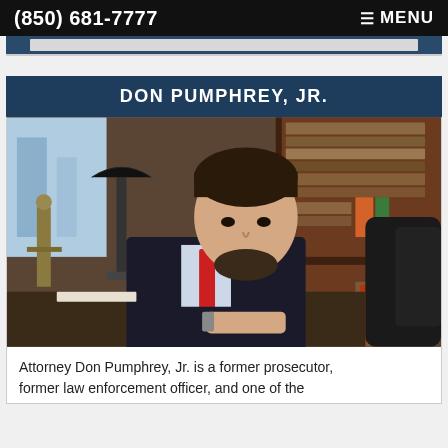(850) 681-7777   ☰ MENU
DON PUMPHREY, JR.
[Figure (photo): Professional portrait of Attorney Don Pumphrey, Jr. seated at a desk in a dark suit with red tie, surrounded by law books and a Lady Justice statue in his office.]
Attorney Don Pumphrey, Jr. is a former prosecutor, former law enforcement officer, and one of the...